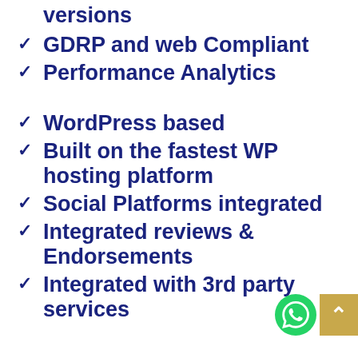versions
GDRP and web Compliant
Performance Analytics
WordPress based
Built on the fastest WP hosting platform
Social Platforms integrated
Integrated reviews & Endorsements
Integrated with 3rd party services